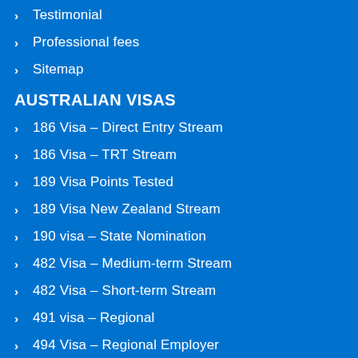Testimonial
Professional fees
Sitemap
AUSTRALIAN VISAS
186 Visa – Direct Entry Stream
186 Visa – TRT Stream
189 Visa Points Tested
189 Visa New Zealand Stream
190 visa – State Nomination
482 Visa – Medium-term Stream
482 Visa – Short-term Stream
491 visa – Regional
494 Visa – Regional Employer
Contributory Parent – Onshore
Contributory Parent – Offshore